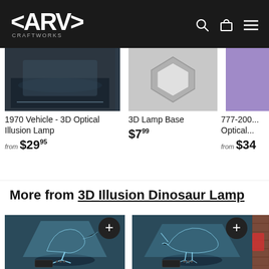CARVE CRAFTWORKS — 3D Optical Illusion Lamps · Light up the night
[Figure (photo): 1970 Vehicle 3D Optical Illusion Lamp product photo on dark background]
1970 Vehicle - 3D Optical Illusion Lamp
from $29.95
[Figure (photo): 3D Lamp Base product photo showing hexagonal acrylic base]
3D Lamp Base
$7.99
[Figure (photo): 777-200 3D Optical Illusion Lamp product photo (partially visible)]
777-200... Optical...
from $34...
More from 3D Illusion Dinosaur Lamp
[Figure (photo): T-Rex dinosaur 3D optical illusion lamp glowing blue on dark background]
[Figure (photo): Triceratops dinosaur 3D optical illusion lamp glowing blue on dark background]
[Figure (photo): Third lamp product partially visible on right edge]